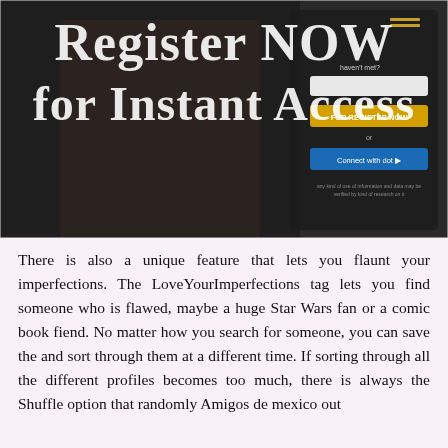[Figure (screenshot): Screenshot of a dating website registration page with overlay text 'Register NOW for Instant Access' in large white letters, showing a woman in a black outfit on the left and a registration form on the right with email input, yellow 'FOR REGISTER NOW' button, and a blue button below.]
There is also a unique feature that lets you flaunt your imperfections. The LoveYourImperfections tag lets you find someone who is flawed, maybe a huge Star Wars fan or a comic book fiend. No matter how you search for someone, you can save the and sort through them at a different time. If sorting through all the different profiles becomes too much, there is always the Shuffle option that randomly Amigos de mexico out